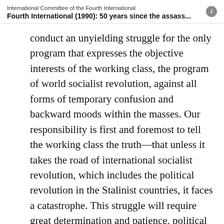International Committee of the Fourth International
Fourth International (1990): 50 years since the assass...
conduct an unyielding struggle for the only program that expresses the objective interests of the working class, the program of world socialist revolution, against all forms of temporary confusion and backward moods within the masses. Our responsibility is first and foremost to tell the working class the truth—that unless it takes the road of international socialist revolution, which includes the political revolution in the Stalinist countries, it faces a catastrophe. This struggle will require great determination and patience, political firmness and resourcefulness, and, above all, an uncompromising struggle for the principles of Trotskyism against all forms of nationalism and opportunism. But it will evoke a powerful